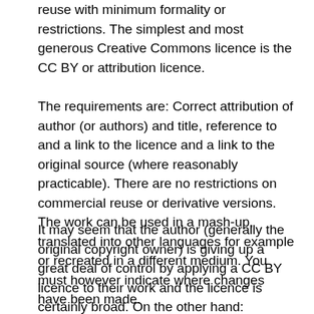reuse with minimum formality or restrictions. The simplest and most generous Creative Commons licence is the CC BY or attribution licence.
The requirements are: Correct attribution of author (or authors) and title, reference to and a link to the licence and a link to the original source (where reasonably practicable). There are no restrictions on commercial reuse or derivative versions. The work can be used in a mash-up, translated into other languages for example or recreated in a different medium. You must however indicate where changes have been made.
It may seem that the author (generally the original copyright owner) is giving up a great deal of control by applying a CC BY licence to their work and the licence is certainly broad. On the other hand: